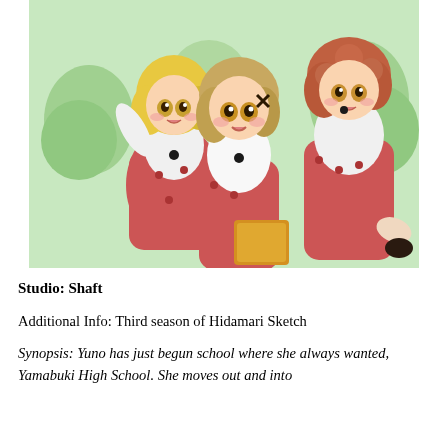[Figure (illustration): Anime illustration showing three anime-style schoolgirls wearing red/pink pinafore dresses over white long-sleeve shirts. The girls have large expressive eyes and are posing cheerfully. One has blonde hair, one has light brown hair with an X hairclip, and one has reddish-brown curly hair. They appear to be from the anime Hidamari Sketch. Background is green with tree shapes.]
Studio: Shaft
Additional Info: Third season of Hidamari Sketch
Synopsis: Yuno has just begun school where she always wanted, Yamabuki High School. She moves out and into